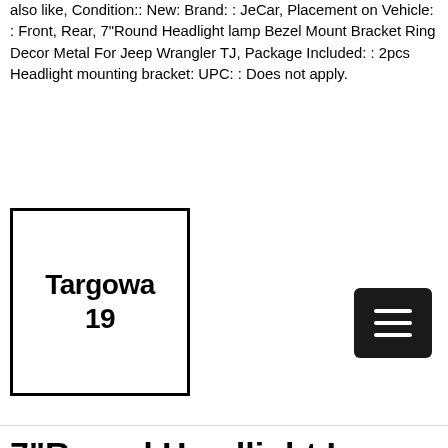also like, Condition:: New: Brand: : JeCar, Placement on Vehicle: : Front, Rear, 7"Round Headlight lamp Bezel Mount Bracket Ring Decor Metal For Jeep Wrangler TJ, Package Included: : 2pcs Headlight mounting bracket: UPC: : Does not apply.
[Figure (logo): Targowa 19 logo — square border with bold text 'Targowa 19']
[Figure (other): Hamburger menu button — dark square with three horizontal white lines]
7"Round Headlight Lamp Bezel Mount Bracket Ring Decor Metal For Jeep Wrangler TJ
[Figure (photo): Photo of a vehicle (Jeep) with LED light bar mounted on top, partial view]